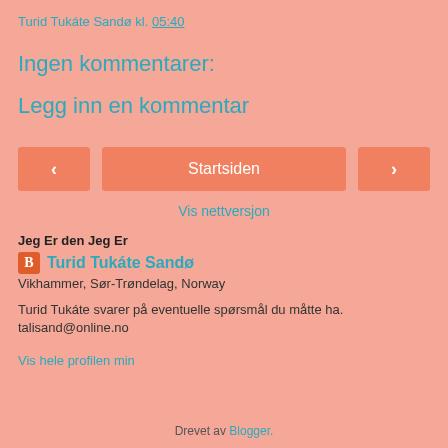Turid Tukáte Sandø kl. 05:40
Ingen kommentarer:
Legg inn en kommentar
< | Startsiden | >
Vis nettversjon
Jeg Er den Jeg Er
Turid Tukáte Sandø
Vikhammer, Sør-Trøndelag, Norway
Turid Tukáte svarer på eventuelle spørsmål du måtte ha. talisand@online.no
Vis hele profilen min
Drevet av Blogger.